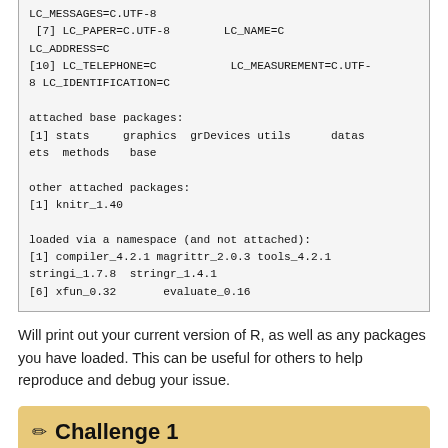LC_MESSAGES=C.UTF-8
 [7] LC_PAPER=C.UTF-8        LC_NAME=C
LC_ADDRESS=C
[10] LC_TELEPHONE=C           LC_MEASUREMENT=C.UTF-8 LC_IDENTIFICATION=C

attached base packages:
[1] stats     graphics  grDevices utils      datasets  methods   base

other attached packages:
[1] knitr_1.40

loaded via a namespace (and not attached):
[1] compiler_4.2.1 magrittr_2.0.3 tools_4.2.1
stringi_1.7.8  stringr_1.4.1
[6] xfun_0.32       evaluate_0.16
Will print out your current version of R, as well as any packages you have loaded. This can be useful for others to help reproduce and debug your issue.
✏ Challenge 1